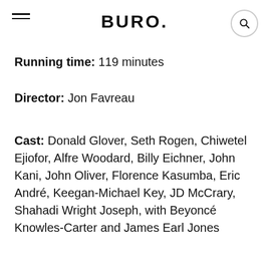BURO.
Running time: 119 minutes
Director: Jon Favreau
Cast: Donald Glover, Seth Rogen, Chiwetel Ejiofor, Alfre Woodard, Billy Eichner, John Kani, John Oliver, Florence Kasumba, Eric André, Keegan-Michael Key, JD McCrary, Shahadi Wright Joseph, with Beyoncé Knowles-Carter and James Earl Jones